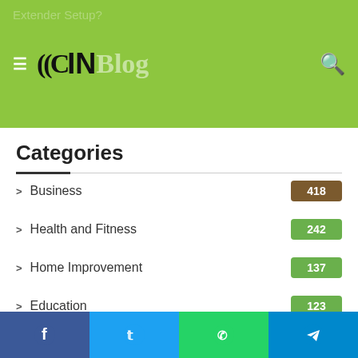CIN Blog — header with logo and navigation
Categories
Business — 418
Health and Fitness — 242
Home Improvement — 137
Education — 123
Fashion — 112
Services — 109
Tech
Digital Marketing — 105
Facebook | Twitter | WhatsApp | Telegram